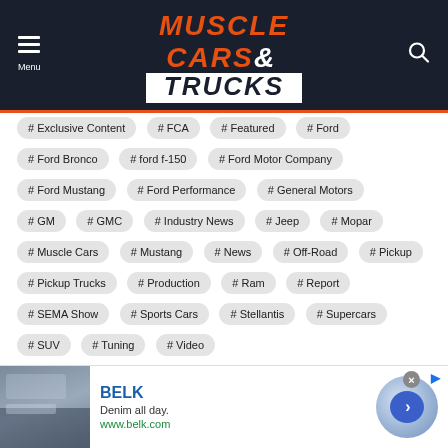[Figure (logo): Muscle Cars & Trucks website logo and navigation header on dark navy background]
# Exclusive Content
# FCA
# Featured
# Ford
# Ford Bronco
# ford f-150
# Ford Motor Company
# Ford Mustang
# Ford Performance
# General Motors
# GM
# GMC
# Industry News
# Jeep
# Mopar
# Muscle Cars
# Mustang
# News
# Off-Road
# Pickup
# Pickup Trucks
# Production
# Ram
# Report
# SEMA Show
# Sports Cars
# Stellantis
# Supercars
# SUV
# Tuning
# Video
[Figure (screenshot): BELK advertisement banner: Denim all day. www.belk.com with arrow button]